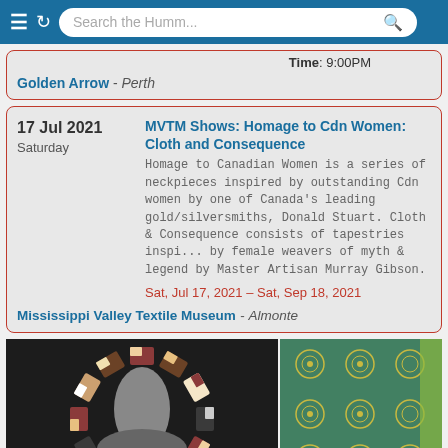Search theHumm...
Time: 9:00PM
Golden Arrow - Perth
17 Jul 2021 Saturday
MVTM Shows: Homage to Cdn Women Cloth and Consequence
Homage to Canadian Women is a series of neckpieces inspired by outstanding Cdn women by one of Canada's leading gold/silversmiths, Donald Stuart. Cloth & Consequence consists of tapestries inspired by female weavers of myth & legend by Master Artisan Murray Gibson.
Sat, Jul 17, 2021 - Sat, Sep 18, 2021
Mississippi Valley Textile Museum - Almonte
[Figure (photo): Left: decorative necklace with geometric mosaic tiles on dark background. Right: teal/green woven textile with repeated circular patterns.]